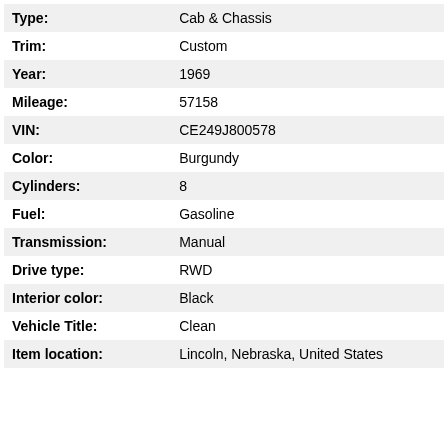| Field | Value |
| --- | --- |
| Type: | Cab & Chassis |
| Trim: | Custom |
| Year: | 1969 |
| Mileage: | 57158 |
| VIN: | CE249J800578 |
| Color: | Burgundy |
| Cylinders: | 8 |
| Fuel: | Gasoline |
| Transmission: | Manual |
| Drive type: | RWD |
| Interior color: | Black |
| Vehicle Title: | Clean |
| Item location: | Lincoln, Nebraska, United States |